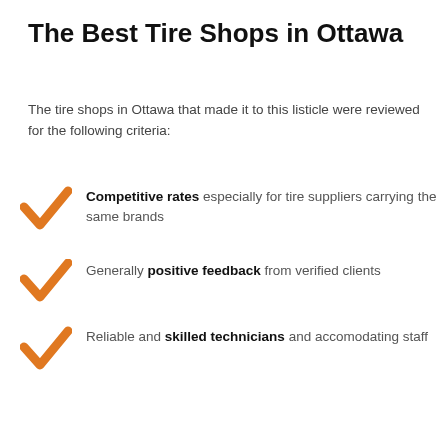The Best Tire Shops in Ottawa
The tire shops in Ottawa that made it to this listicle were reviewed for the following criteria:
Competitive rates especially for tire suppliers carrying the same brands
Generally positive feedback from verified clients
Reliable and skilled technicians and accomodating staff